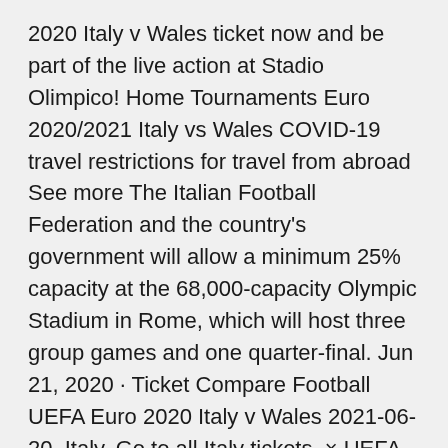2020 Italy v Wales ticket now and be part of the live action at Stadio Olimpico! Home Tournaments Euro 2020/2021 Italy vs Wales COVID-19 travel restrictions for travel from abroad See more The Italian Football Federation and the country's government will allow a minimum 25% capacity at the 68,000-capacity Olympic Stadium in Rome, which will host three group games and one quarter-final. Jun 21, 2020 · Ticket Compare Football UEFA Euro 2020 Italy v Wales 2021-06-20. Italy. Go to all Italy tickets. × UEFA Euro 2020 Tickets; El Classico Tickets; Championship Find the cheapest deal for Italy v Wales Euro 2020 tickets at Stadio Olimpico on 20/06/2021 at Seat Compare ™.
Prices may be higher or lower than face value. Price and face value are displayed on the listing detail page. We use cookies to improve your experience. For